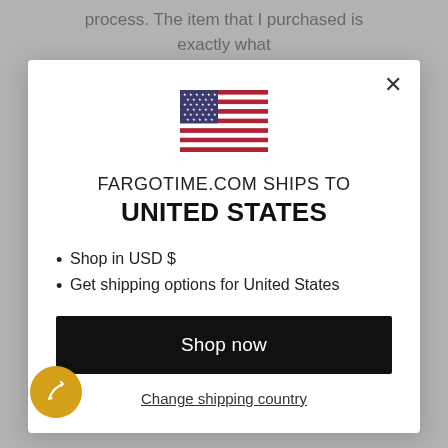process. The item that I purchased is exactly what
[Figure (illustration): US flag icon]
FARGOTIME.COM SHIPS TO
UNITED STATES
Shop in USD $
Get shipping options for United States
Shop now
Change shipping country